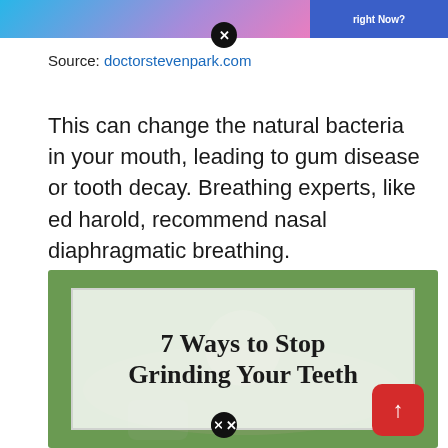[Figure (screenshot): Advertisement banner at top of page with colorful graphic on left and blue button on right, with a close (X) button overlay]
Source: doctorstevenpark.com
This can change the natural bacteria in your mouth, leading to gum disease or tooth decay. Breathing experts, like ed harold, recommend nasal diaphragmatic breathing.
[Figure (illustration): Green background image with white semi-transparent box overlay containing the text '7 Ways to Stop Grinding Your Teeth', with a faint illustration of a person sleeping, and a red scroll-to-top button in the bottom right corner]